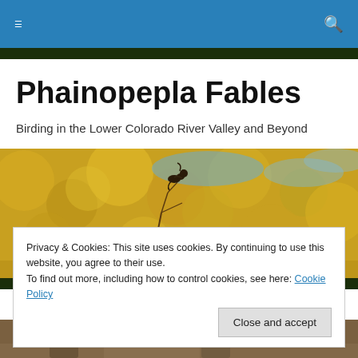Navigation bar with hamburger menu and search icon
Phainopepla Fables
Birding in the Lower Colorado River Valley and Beyond
[Figure (photo): Hero image of a bird perched on a bare twig with blurred golden/yellow foliage bokeh background and blue sky]
Privacy & Cookies: This site uses cookies. By continuing to use this website, you agree to their use.
To find out more, including how to control cookies, see here: Cookie Policy
Close and accept
[Figure (photo): Partial bottom photo strip showing two people outdoors]